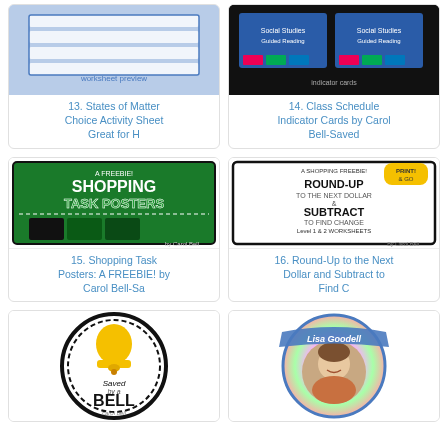[Figure (screenshot): Thumbnail for States of Matter Choice Activity Sheet worksheet image on light blue/purple background]
13. States of Matter Choice Activity Sheet Great for H
[Figure (screenshot): Thumbnail for Class Schedule Indicator Cards on black background with colorful card tabs]
14. Class Schedule Indicator Cards by Carol Bell-Saved
[Figure (screenshot): Shopping Task Posters: A FREEBIE! by Carol Bell - green and black poster graphic]
15. Shopping Task Posters: A FREEBIE! by Carol Bell-Sa
[Figure (screenshot): Round-Up to the Next Dollar and Subtract to Find Change worksheets thumbnail]
16. Round-Up to the Next Dollar and Subtract to Find C
[Figure (logo): Saved by a Bell logo - circular black and white with gold bell, Carol Bell teacher brand]
[Figure (photo): Lisa Goodell teacher profile photo in colorful circular frame with rainbow swirl background]